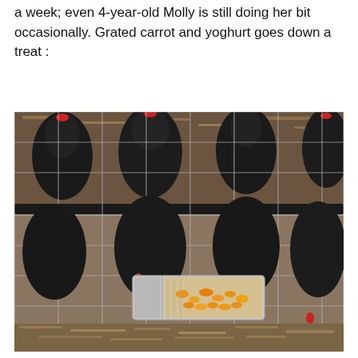a week; even 4-year-old Molly is still doing her bit occasionally. Grated carrot and yoghurt goes down a treat :
[Figure (photo): Photograph of dark-feathered chickens inside a wire mesh enclosure/run, viewed through the wire fence. A clear plastic tray containing grated carrot and food scraps is visible on the ground in the middle of the frame. The ground is covered with dry leaves and dirt. One chicken can be seen pecking at the tray.]